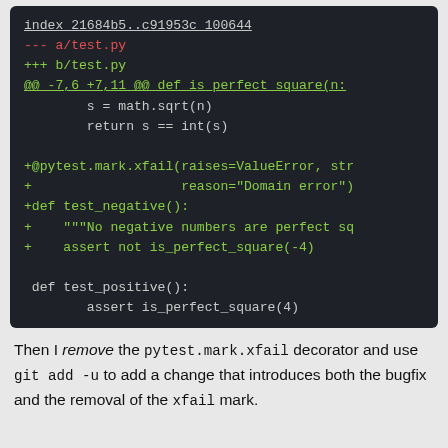[Figure (screenshot): A dark-themed code diff screenshot showing a git diff of test.py. Lines include index header, --- a/test.py in red, +++ b/test.py in green, @@ hunk header, unchanged lines with math.sqrt and return, and new green + lines adding @pytest.mark.xfail decorator, test_negative function, and showing test_positive function.]
Then I remove the pytest.mark.xfail decorator and use git add -u to add a change that introduces both the bugfix and the removal of the xfail mark.